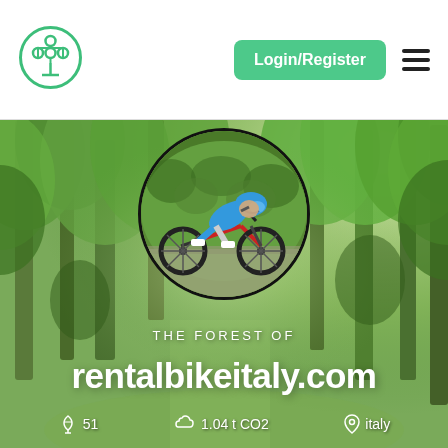[Figure (logo): Green tree logo icon in circle outline]
Login/Register
[Figure (photo): Forest background with tall green trees and sunlight, with a circular inset photo of a cyclist in blue gear riding a time trial bicycle]
THE FOREST OF
rentalbikeitaly.com
51  1.04 t CO2  italy